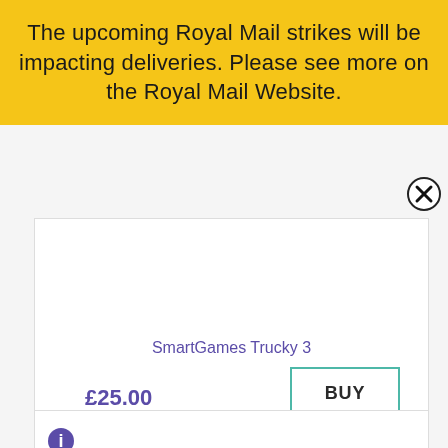The upcoming Royal Mail strikes will be impacting deliveries. Please see more on the Royal Mail Website.
[Figure (screenshot): Product card for SmartGames Trucky 3 with price £25.00 and BUY button]
SmartGames Trucky 3
£25.00